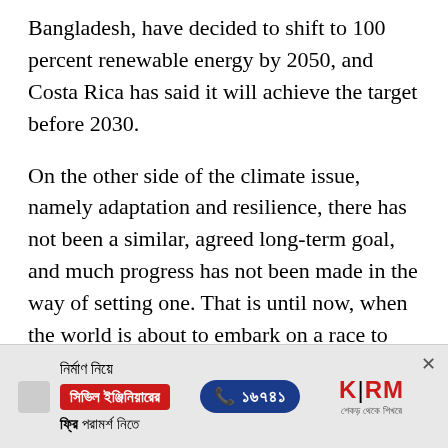Bangladesh, have decided to shift to 100 percent renewable energy by 2050, and Costa Rica has said it will achieve the target before 2030.
On the other side of the climate issue, namely adaptation and resilience, there has not been a similar, agreed long-term goal, and much progress has not been made in the way of setting one. That is until now, when the world is about to embark on a race to resilience that is being launched by the two Climate Champions, Nigel Topping from the United Kingdom and Gonzalo Munoz from Chile. The position of Climate
[Figure (other): Advertisement banner for KSRM construction company with Bengali text, a red button for civil engineering consultation, a blue phone number button showing 16741, and the KSRM logo with Bengali tagline.]